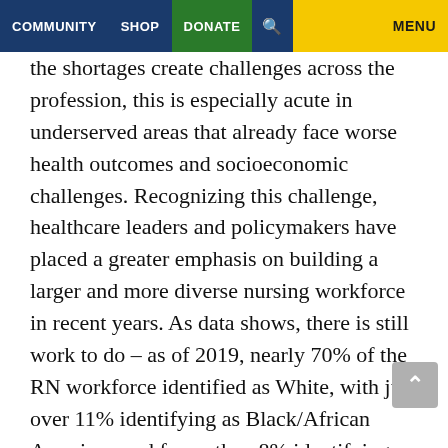COMMUNITY | SHOP | DONATE | [search] | MENU
the shortages create challenges across the profession, this is especially acute in underserved areas that already face worse health outcomes and socioeconomic challenges. Recognizing this challenge, healthcare leaders and policymakers have placed a greater emphasis on building a larger and more diverse nursing workforce in recent years. As data shows, there is still work to do – as of 2019, nearly 70% of the RN workforce identified as White, with just over 11% identifying as Black/African American and fewer than 8% identifying as Hispanic.[2] What is clear – a more diverse nursing workforce, one that mirrors the diversity of the nation overall and the communities that